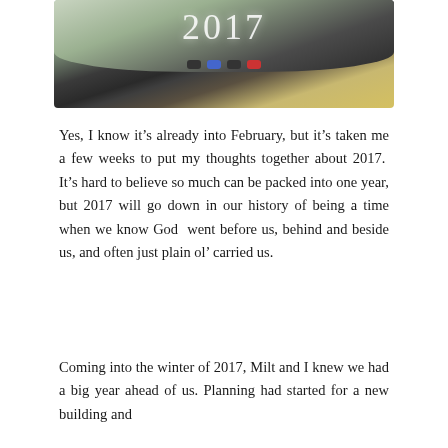[Figure (photo): A car rearview mirror reflecting a road scene, with the year '2017' overlaid in white text on the mirror surface. Control buttons visible on the mirror frame.]
Yes, I know it's already into February, but it's taken me a few weeks to put my thoughts together about 2017.  It's hard to believe so much can be packed into one year, but 2017 will go down in our history of being a time when we know God  went before us, behind and beside us, and often just plain ol' carried us.
Coming into the winter of 2017, Milt and I knew we had a big year ahead of us. Planning had started for a new building and